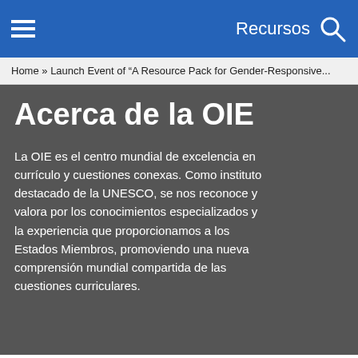Recursos
Home » Launch Event of "A Resource Pack for Gender-Responsive...
Acerca de la OIE
La OIE es el centro mundial de excelencia en currículo y cuestiones conexas. Como instituto destacado de la UNESCO, se nos reconoce y valora por los conocimientos especializados y la experiencia que proporcionamos a los Estados Miembros, promoviendo una nueva comprensión mundial compartida de las cuestiones curriculares.